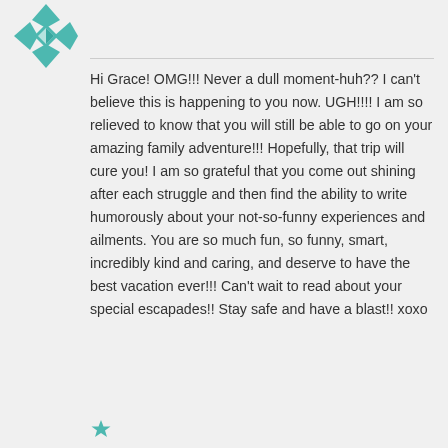[Figure (logo): Teal/turquoise decorative avatar icon with geometric snowflake-like pattern]
Hi Grace! OMG!!! Never a dull moment-huh?? I can't believe this is happening to you now. UGH!!!! I am so relieved to know that you will still be able to go on your amazing family adventure!!! Hopefully, that trip will cure you! I am so grateful that you come out shining after each struggle and then find the ability to write humorously about your not-so-funny experiences and ailments. You are so much fun, so funny, smart, incredibly kind and caring, and deserve to have the best vacation ever!!! Can't wait to read about your special escapades!! Stay safe and have a blast!! xoxo